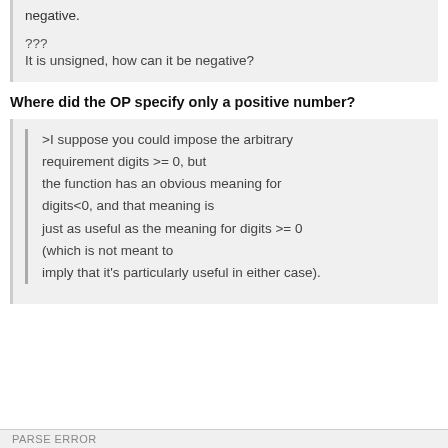negative.
???
It is unsigned, how can it be negative?
Where did the OP specify only a positive number?
>I suppose you could impose the arbitrary requirement digits >= 0, but the function has an obvious meaning for digits<0, and that meaning is just as useful as the meaning for digits >= 0 (which is not meant to imply that it's particularly useful in either case).
PARSE ERROR